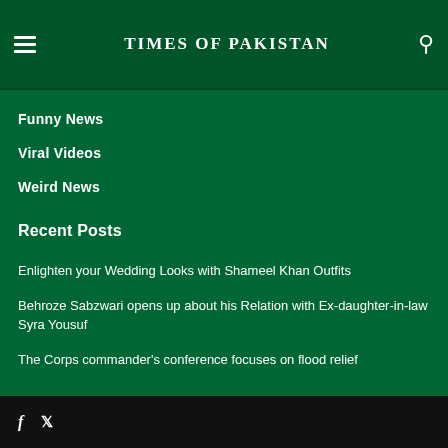TIMES OF PAKISTAN
Funny News
Viral Videos
Weird News
Recent Posts
Enlighten your Wedding Looks with Shameel Khan Outfits
Behroze Sabzwari opens up about his Relation with Ex-daughter-in-law Syra Yousuf
The Corps commander's conference focuses on flood relief
f  t